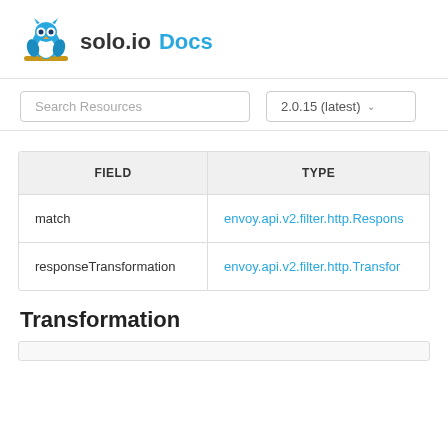solo.io Docs
Search Resources | 2.0.15 (latest)
| FIELD | TYPE |
| --- | --- |
| match | envoy.api.v2.filter.http.Respons... |
| responseTransformation | envoy.api.v2.filter.http.Transfor... |
Transformation